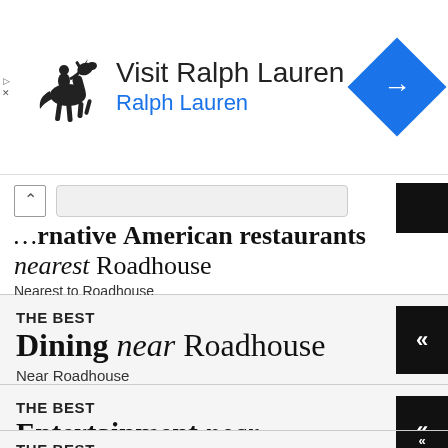[Figure (screenshot): Ralph Lauren advertisement banner with polo player logo, 'Visit Ralph Lauren' text, blue navigation arrow button]
Alternative American restaurants nearest Roadhouse
Nearest to Roadhouse
THE BEST
Dining near Roadhouse
Near Roadhouse
THE BEST
Entertainment near Roadhouse
Near Roadhouse
THE BEST